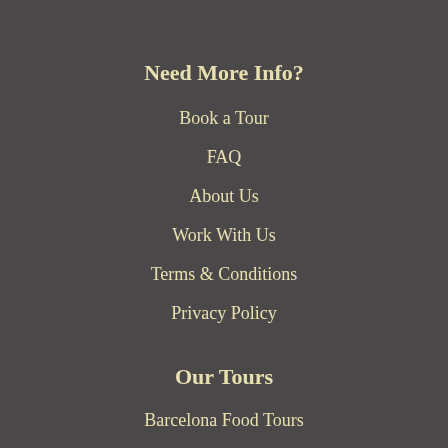Need More Info?
Book a Tour
FAQ
About Us
Work With Us
Terms & Conditions
Privacy Policy
Our Tours
Barcelona Food Tours
Boston Food Tours
Chicago Food Tours